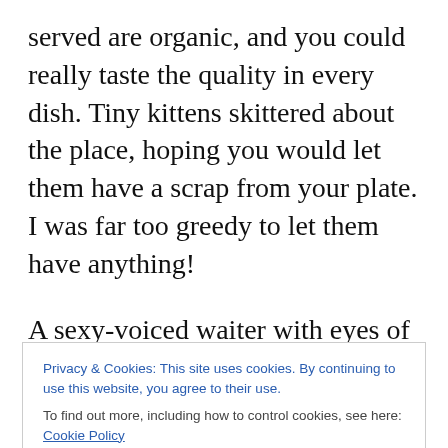served are organic, and you could really taste the quality in every dish. Tiny kittens skittered about the place, hoping you would let them have a scrap from your plate. I was far too greedy to let them have anything!
A sexy-voiced waiter with eyes of the clearest blue told us that we would pay a fixed fee and that he would bring plate after plate of mezze until we begged him to stop. Yeah right, I thought, good luck getting me to stop. But, four rounds of savoury platefuls later, encompassing a veritable odyssey through wonderful vegetable mezze
Privacy & Cookies: This site uses cookies. By continuing to use this website, you agree to their use.
To find out more, including how to control cookies, see here: Cookie Policy
Close and accept
to become – a secret too for my geraniums.